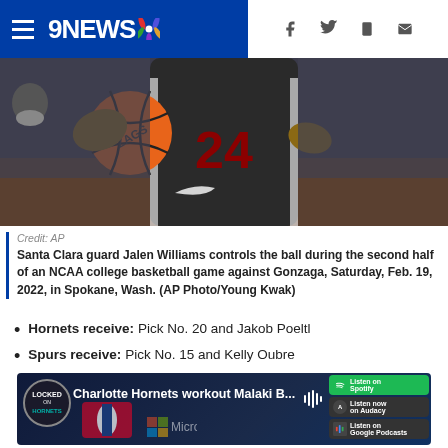9NEWS (NBC) navigation header with hamburger menu and social icons
[Figure (photo): Basketball player wearing #24 Santa Clara jersey dribbling a ZAGS basketball, cropped torso shot]
Credit: AP
Santa Clara guard Jalen Williams controls the ball during the second half of an NCAA college basketball game against Gonzaga, Saturday, Feb. 19, 2022, in Spokane, Wash. (AP Photo/Young Kwak)
Hornets receive: Pick No. 20 and Jakob Poeltl
Spurs receive: Pick No. 15 and Kelly Oubre
[Figure (screenshot): Charlotte Hornets workout Malaki B... video thumbnail with podcast streaming badges for Spotify, Audacy, Google Podcasts, Apple Podcasts]